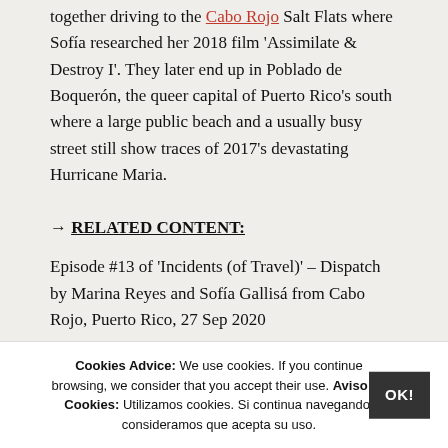together driving to the Cabo Rojo Salt Flats where Sofía researched her 2018 film 'Assimilate & Destroy I'. They later end up in Poblado de Boquerón, the queer capital of Puerto Rico's south where a large public beach and a usually busy street still show traces of 2017's devastating Hurricane Maria.
→ RELATED CONTENT:
Episode #13 of 'Incidents (of Travel)' – Dispatch by Marina Reyes and Sofía Gallisá from Cabo Rojo, Puerto Rico, 27 Sep 2020
Cookies Advice: We use cookies. If you continue browsing, we consider that you accept their use. Aviso de Cookies: Utilizamos cookies. Si continua navegando, consideramos que acepta su uso.